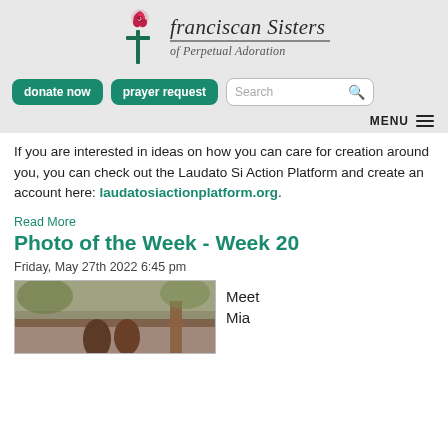[Figure (logo): Franciscan Sisters of Perpetual Adoration logo with rose and cross]
donate now | prayer request | Search | MENU
If you are interested in ideas on how you can care for creation around you, you can check out the Laudato Si Action Platform and create an account here: laudatosiactionplatform.org.
Read More
Photo of the Week - Week 20
Friday, May 27th 2022 6:45 pm
[Figure (photo): A photo of Mia, showing what appears to be a deer or animal near a wooden structure outdoors]
Meet Mia